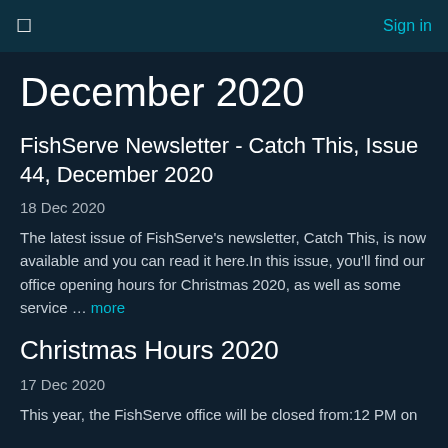☰   Sign in
December 2020
FishServe Newsletter - Catch This, Issue 44, December 2020
18 Dec 2020
The latest issue of FishServe's newsletter, Catch This, is now available and you can read it here.In this issue, you'll find our office opening hours for Christmas 2020, as well as some service … more
Christmas Hours 2020
17 Dec 2020
This year, the FishServe office will be closed from:12 PM on